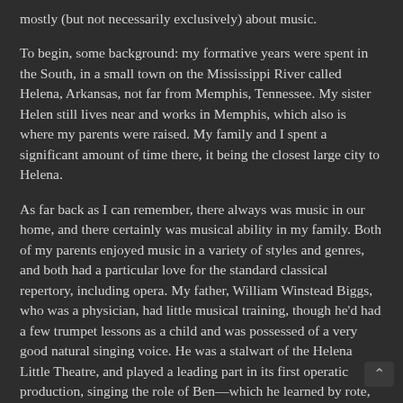mostly (but not necessarily exclusively) about music.
To begin, some background: my formative years were spent in the South, in a small town on the Mississippi River called Helena, Arkansas, not far from Memphis, Tennessee. My sister Helen still lives near and works in Memphis, which also is where my parents were raised. My family and I spent a significant amount of time there, it being the closest large city to Helena.
As far back as I can remember, there always was music in our home, and there certainly was musical ability in my family. Both of my parents enjoyed music in a variety of styles and genres, and both had a particular love for the standard classical repertory, including opera. My father, William Winstead Biggs, who was a physician, had little musical training, though he'd had a few trumpet lessons as a child and was possessed of a very good natural singing voice. He was a stalwart of the Helena Little Theatre, and played a leading part in its first operatic production, singing the role of Ben—which he learned by rote, with me helping at the piano—in Menotti's The Telephone, presented as part of a double bill with Kurt Weill's Down in the Valley. His trumpet-playing heroes included "Bunny" Berigan and Harry James, his favorite symphony was Tchaikovsky's Fifth